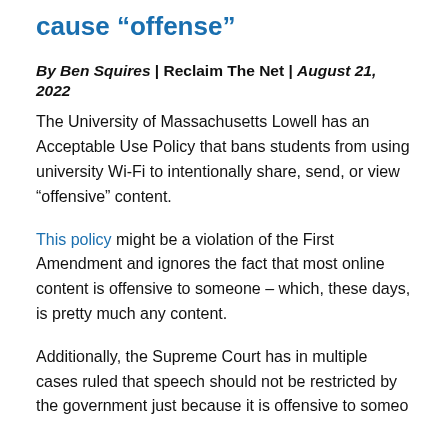cause “offense”
By Ben Squires | Reclaim The Net | August 21, 2022
The University of Massachusetts Lowell has an Acceptable Use Policy that bans students from using university Wi-Fi to intentionally share, send, or view “offensive” content.
This policy might be a violation of the First Amendment and ignores the fact that most online content is offensive to someone – which, these days, is pretty much any content.
Additionally, the Supreme Court has in multiple cases ruled that speech should not be restricted by the government just because it is offensive to someone